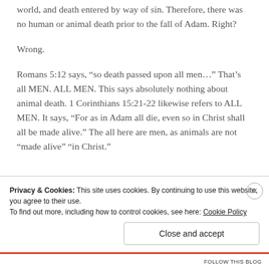world, and death entered by way of sin. Therefore, there was no human or animal death prior to the fall of Adam. Right?
Wrong.
Romans 5:12 says, “so death passed upon all men…” That’s all MEN. ALL MEN. This says absolutely nothing about animal death. 1 Corinthians 15:21-22 likewise refers to ALL MEN. It says, “For as in Adam all die, even so in Christ shall all be made alive.” The all here are men, as animals are not “made alive” “in Christ.”
Privacy & Cookies: This site uses cookies. By continuing to use this website, you agree to their use.
To find out more, including how to control cookies, see here: Cookie Policy
Close and accept